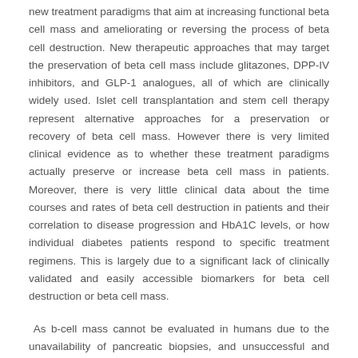new treatment paradigms that aim at increasing functional beta cell mass and ameliorating or reversing the process of beta cell destruction. New therapeutic approaches that may target the preservation of beta cell mass include glitazones, DPP-IV inhibitors, and GLP-1 analogues, all of which are clinically widely used. Islet cell transplantation and stem cell therapy represent alternative approaches for a preservation or recovery of beta cell mass. However there is very limited clinical evidence as to whether these treatment paradigms actually preserve or increase beta cell mass in patients. Moreover, there is very little clinical data about the time courses and rates of beta cell destruction in patients and their correlation to disease progression and HbA1C levels, or how individual diabetes patients respond to specific treatment regimens. This is largely due to a significant lack of clinically validated and easily accessible biomarkers for beta cell destruction or beta cell mass.
As b-cell mass cannot be evaluated in humans due to the unavailability of pancreatic biopsies, and unsuccessful and expensive imaging strategies to date, we currently use functional tests of insulin secretion as an indirect markers of beta-cell mass in humans. In previous research, we have demonstrated that PSP/reg is selectively produced in insulin-secreting beta cells during the process of beta cell destruction.